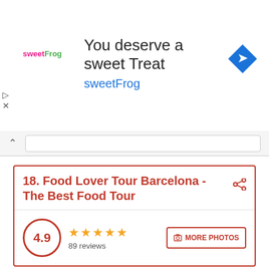[Figure (screenshot): sweetFrog advertisement banner with logo, headline 'You deserve a sweet Treat', brand name 'sweetFrog', and navigation icon]
18. Food Lover Tour Barcelona - The Best Food Tour
4.9  89 reviews
MORE PHOTOS
Location
4
Price/Quality
4.7
Service
4
Parking
4.6